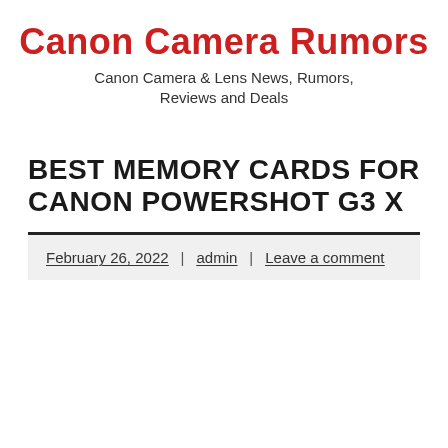Canon Camera Rumors
Canon Camera & Lens News, Rumors, Reviews and Deals
BEST MEMORY CARDS FOR CANON POWERSHOT G3 X
February 26, 2022 | admin | Leave a comment